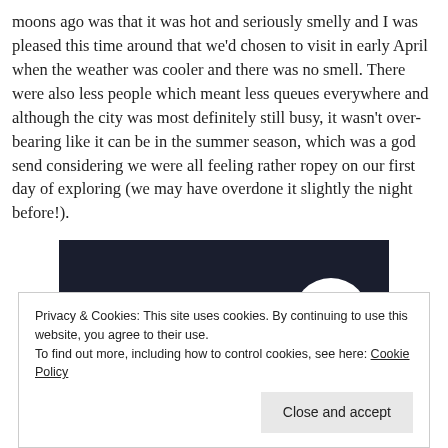moons ago was that it was hot and seriously smelly and I was pleased this time around that we'd chosen to visit in early April when the weather was cooler and there was no smell. There were also less people which meant less queues everywhere and although the city was most definitely still busy, it wasn't over-bearing like it can be in the summer season, which was a god send considering we were all feeling rather ropey on our first day of exploring (we may have overdone it slightly the night before!).
[Figure (screenshot): Dark background screenshot showing a 'Start a survey' pink button and a CrowdSignal logo circle on the right]
Privacy & Cookies: This site uses cookies. By continuing to use this website, you agree to their use.
To find out more, including how to control cookies, see here: Cookie Policy
Close and accept